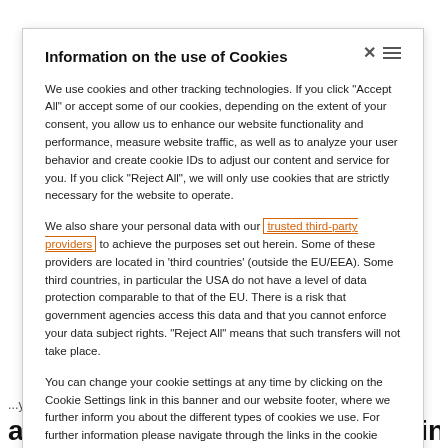Information on the use of Cookies
We use cookies and other tracking technologies. If you click “Accept All” or accept some of our cookies, depending on the extent of your consent, you allow us to enhance our website functionality and performance, measure website traffic, as well as to analyze your user behavior and create cookie IDs to adjust our content and service for you. If you click “Reject All”, we will only use cookies that are strictly necessary for the website to operate.
We also share your personal data with our trusted third-party providers to achieve the purposes set out herein. Some of these providers are located in ‘third countries’ (outside the EU/EEA). Some third countries, in particular the USA do not have a level of data protection comparable to that of the EU. There is a risk that government agencies access this data and that you cannot enforce your data subject rights. “Reject All” means that such transfers will not take place.
You can change your cookie settings at any time by clicking on the Cookie Settings link in this banner and our website footer, where we further inform you about the different types of cookies we use. For further information please navigate through the links in the cookie banner.
See also: Privacy notice · Cookie notice · Imprint
...you have a lifestyle and mindset that allows for sitting tight, while